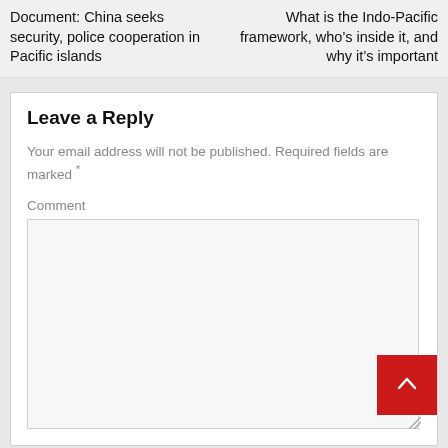Document: China seeks security, police cooperation in Pacific islands
What is the Indo-Pacific framework, who's inside it, and why it's important
Leave a Reply
Your email address will not be published. Required fields are marked *
Comment